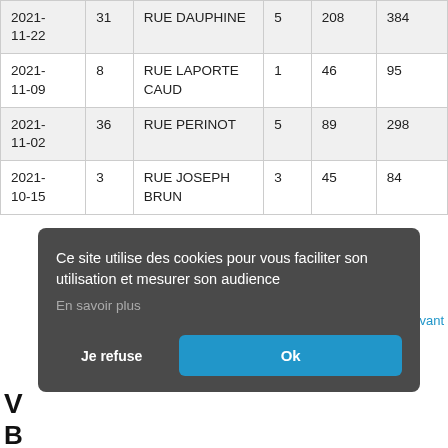| 2021-11-22 | 31 | RUE DAUPHINE | 5 | 208 | 384 |
| 2021-11-09 | 8 | RUE LAPORTE CAUD | 1 | 46 | 95 |
| 2021-11-02 | 36 | RUE PERINOT | 5 | 89 | 298 |
| 2021-10-15 | 3 | RUE JOSEPH BRUN | 3 | 45 | 84 |
Ce site utilise des cookies pour vous faciliter son utilisation et mesurer son audience
En savoir plus
Je refuse  Ok
V
B